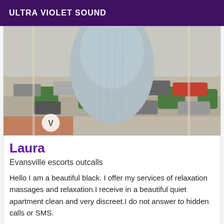ULTRA VIOLET SOUND
[Figure (photo): A person wearing tight light blue/grey clothing standing near a window overlooking a parking lot with cars and trees visible below.]
Laura
Evansville escorts outcalls
Hello I am a beautiful black. I offer my services of relaxation massages and relaxation.I receive in a beautiful quiet apartment clean and very discreet.I do not answer to hidden calls or SMS.
[Figure (photo): Partial view of another listing photo at the bottom of the page.]